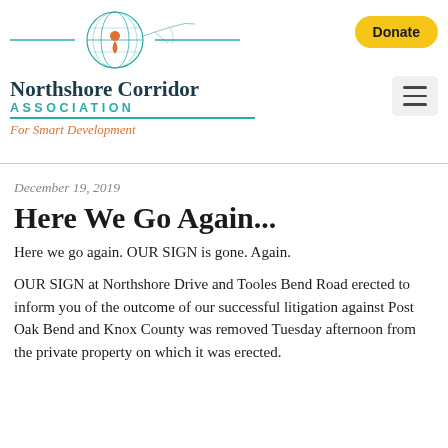[Figure (logo): Northshore Corridor Association logo with globe/map graphic and teal lines]
Northshore Corridor Association — For Smart Development | Donate button | Hamburger menu
December 19, 2019
Here We Go Again...
Here we go again. OUR SIGN is gone. Again.
OUR SIGN at Northshore Drive and Tooles Bend Road erected to inform you of the outcome of our successful litigation against Post Oak Bend and Knox County was removed Tuesday afternoon from the private property on which it was erected.